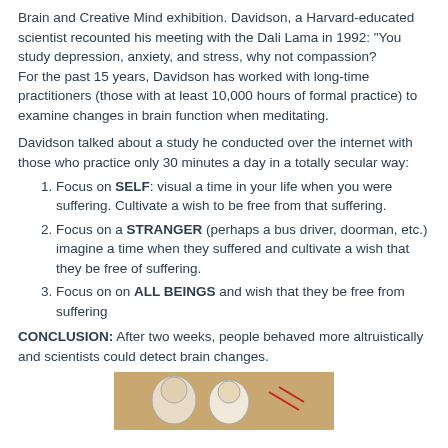Brain and Creative Mind exhibition.  Davidson, a Harvard-educated scientist recounted his meeting with the Dali Lama in 1992: "You study depression, anxiety, and stress, why not compassion? For the past 15 years, Davidson has worked with long-time practitioners (those with at least 10,000 hours of formal practice) to examine changes in brain function when meditating.
Davidson talked about a study he conducted over the internet with those who practice only 30 minutes a day in a totally secular way:
Focus on SELF: visual a time in your life when you were suffering. Cultivate a wish to be free from that suffering.
Focus on a STRANGER (perhaps a bus driver, doorman, etc.) imagine a time when they suffered and cultivate a wish that they be free of suffering.
Focus on on ALL BEINGS and wish that they be free from suffering
CONCLUSION:  After two weeks, people behaved more altruistically and scientists could detect brain changes.
[Figure (photo): A photograph showing cartoon-like or illustrated figures, partially visible at the bottom of the page.]